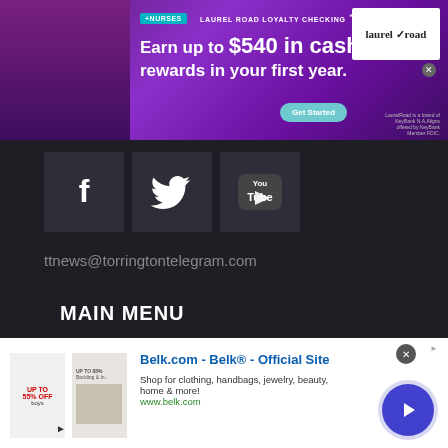[Figure (screenshot): Laurel Road Loyalty Checking advertisement banner: '+NURSES LAUREL ROAD LOYALTY CHECKING℠ Earn up to $540 in cash rewards in your first year. Get Started' with Laurel Road logo on right and nurse photo on left]
[Figure (logo): Facebook icon - white F on dark grey square]
[Figure (logo): Twitter bird icon - white bird on dark grey square]
[Figure (logo): YouTube icon - white play button on dark grey square]
ttnews@torringtontelegram.com
MAIN MENU
Community
Opinion
Sports
[Figure (screenshot): Belk.com advertisement: 'Belk.com - Belk® - Official Site - Shop for clothing, handbags, jewelry, beauty, home & more! www.belk.com' with product images and navigation arrow button]